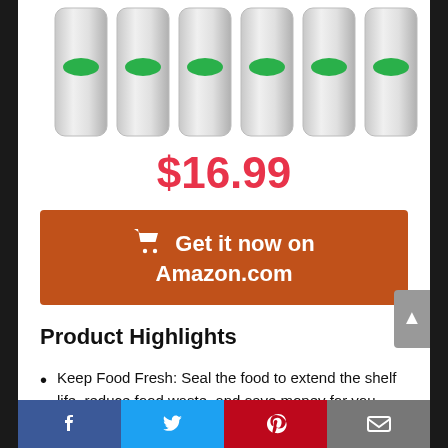[Figure (photo): Six silver cylindrical canisters/containers each with a green oval label, arranged in a row on a white background]
$16.99
Get it now on Amazon.com
Product Highlights
Keep Food Fresh: Seal the food to extend the shelf life, reduce food waste, and save money for you.
Keeping fruit, vegetables, or cuts of
Facebook | Twitter | Pinterest | Email